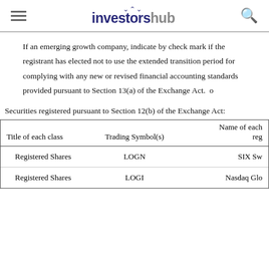investorshub (navigation bar with hamburger menu and search icon)
If an emerging growth company, indicate by check mark if the registrant has elected not to use the extended transition period for complying with any new or revised financial accounting standards provided pursuant to Section 13(a) of the Exchange Act. o
Securities registered pursuant to Section 12(b) of the Exchange Act:
| Title of each class | Trading Symbol(s) | Name of each exchange on which registered |
| --- | --- | --- |
| Registered Shares | LOGN | SIX Sw... |
| Registered Shares | LOGI | Nasdaq Glo... |